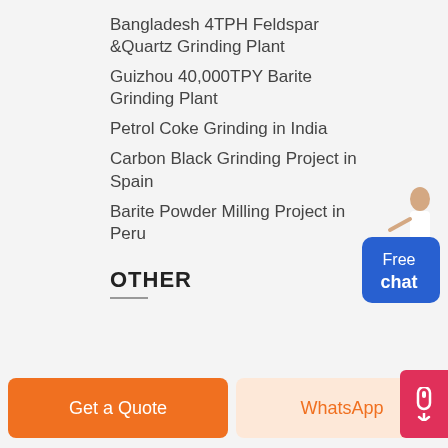Bangladesh 4TPH Feldspar &Quartz Grinding Plant
Guizhou 40,000TPY Barite Grinding Plant
Petrol Coke Grinding in India
Carbon Black Grinding Project in Spain
Barite Powder Milling Project in Peru
OTHER
[Figure (illustration): Customer service representative figure with 'Free chat' blue button widget]
Get a Quote
WhatsApp